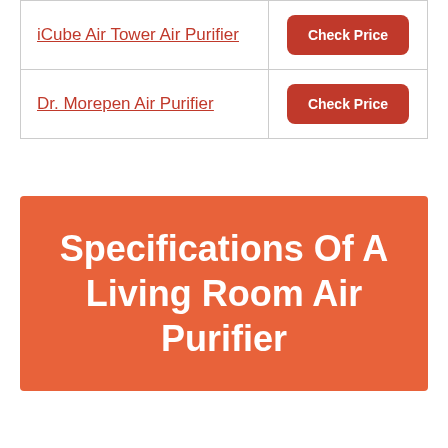| Product |  |
| --- | --- |
| iCube Air Tower Air Purifier | Check Price |
| Dr. Morepen Air Purifier | Check Price |
Specifications Of A Living Room Air Purifier